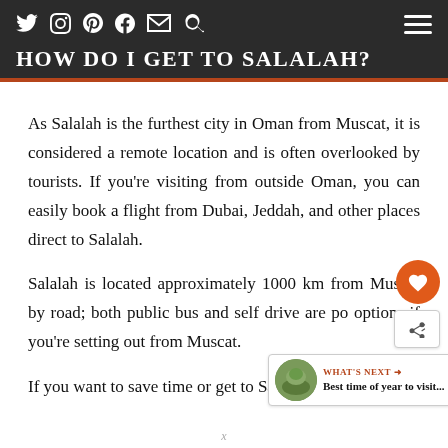HOW DO I GET TO SALALAH?
As Salalah is the furthest city in Oman from Muscat, it is considered a remote location and is often overlooked by tourists. If you're visiting from outside Oman, you can easily book a flight from Dubai, Jeddah, and other places direct to Salalah.
Salalah is located approximately 1000 km from Muscat by road; both public bus and self drive are possible options if you're setting out from Muscat.
If you want to save time or get to Salalah fast, you can